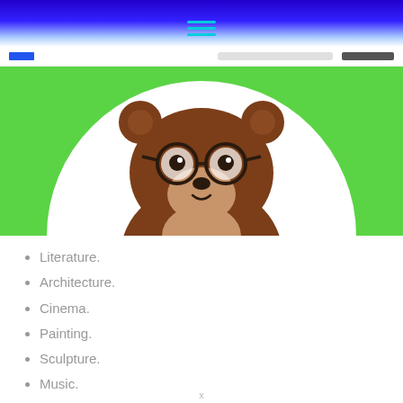hamburger menu icon
[Figure (illustration): A cartoon brown bear with round glasses wearing a friendly expression, shown from the chest up, centered against a white circular background with green decorative shapes on the left and right sides.]
Literature.
Architecture.
Cinema.
Painting.
Sculpture.
Music.
Theater.